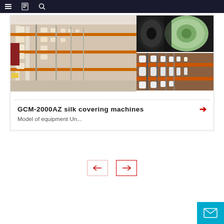Navigation bar with hamburger menu, document icon, and search icon
[Figure (photo): Large image of industrial silk covering machine factory floor with rows of orange-framed machines and bobbins]
[Figure (photo): Top-right: close-up of black and light green thread bobbins on a machine]
[Figure (photo): Bottom-right: rows of industrial textile machines with orange rails and white bobbins]
GCM-2000AZ silk covering machines
Model of equipment Un...
[Figure (infographic): Pagination controls: left arrow button (inactive, light red border) and right arrow button (active, red border)]
[Figure (infographic): Contact/email button (cyan square with envelope icon) at bottom right]